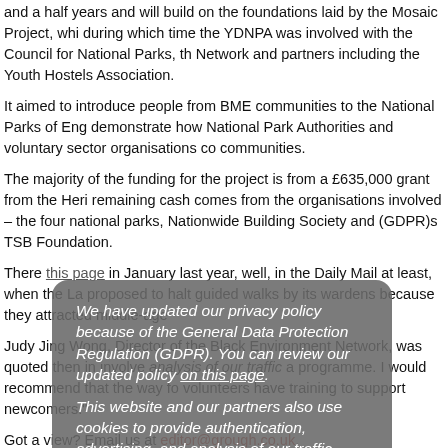and a half years and will build on the foundations laid by the Mosaic Project, which during which time the YDNPA was involved with the Council for National Parks, the Network and partners including the Youth Hostels Association.
It aimed to introduce people from BME communities to the National Parks of England, demonstrate how National Park Authorities and voluntary sector organisations could communities.
The majority of the funding for the project is from a £635,000 grant from the Heritage remaining cash comes from the organisations involved – the four national parks, Nationwide Building Society and (GDPR) TSB Foundation.
There [this page] in January last year, well, in the Daily Mail at least, when the La proposed to halt guided walks by its wardens because they attracted middle-age
Judy Ling Wong, Director of the Black Environment Network, was quoted then in involve analysis of our traffic a programme. I would recommend that the way for volunteers have training to support newcomers."
Got a view? Email us at editor@grough.co.uk.
We have updated our privacy policy because of the General Data Protection Regulation (GDPR). You can review our updated policy on this page. This website and our partners also use cookies to provide authentication, advertising, and analysis of our traffic. You can set your browser to disable these at any time. I understand